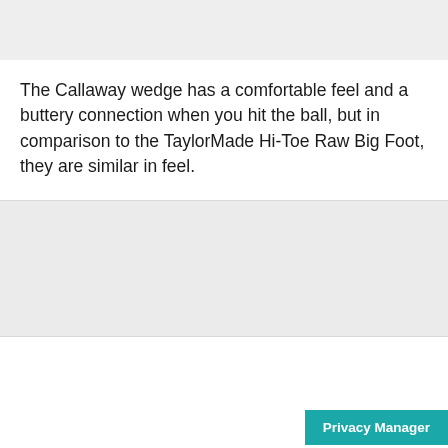The Callaway wedge has a comfortable feel and a buttery connection when you hit the ball, but in comparison to the TaylorMade Hi-Toe Raw Big Foot, they are similar in feel.
[Figure (other): Gray placeholder block representing an image or video content area]
Privacy Manager